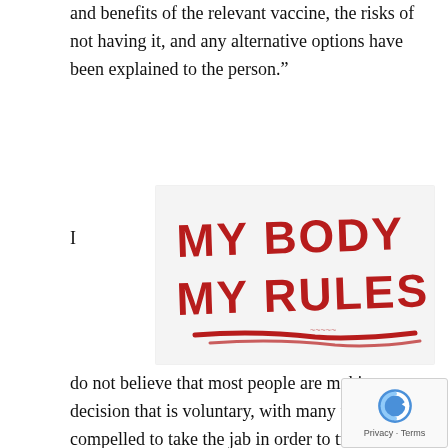and benefits of the relevant vaccine, the risks of not having it, and any alternative options have been explained to the person.”
[Figure (photo): Handwritten sign in red paint reading 'MY BODY MY RULES' with a red underline stroke beneath the text, on a white background.]
I do not believe that most people are making a decision that is voluntary, with many feeling compelled to take the jab in order to travel, s[ee] family, or keep their job. In this light, they cannot